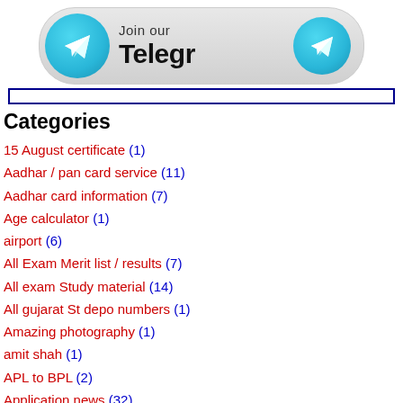[Figure (other): Telegram channel join button banner with two Telegram logo circles (cyan/blue gradient with paper plane icon) on left and right, and text 'Join our Telegr' in the center on a light grey rounded rectangle background]
Categories
15 August certificate (1)
Aadhar / pan card service (11)
Aadhar card information (7)
Age calculator (1)
airport (6)
All Exam Merit list / results (7)
All exam Study material (14)
All gujarat St depo numbers (1)
Amazing photography (1)
amit shah (1)
APL to BPL (2)
Application news (32)